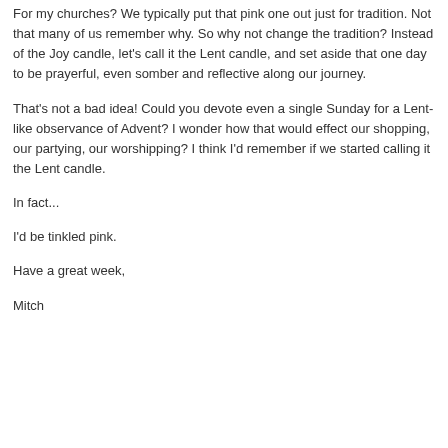For my churches? We typically put that pink one out just for tradition. Not that many of us remember why. So why not change the tradition? Instead of the Joy candle, let's call it the Lent candle, and set aside that one day to be prayerful, even somber and reflective along our journey.
That's not a bad idea! Could you devote even a single Sunday for a Lent-like observance of Advent? I wonder how that would effect our shopping, our partying, our worshipping? I think I'd remember if we started calling it the Lent candle.
In fact...
I'd be tinkled pink.
Have a great week,
Mitch